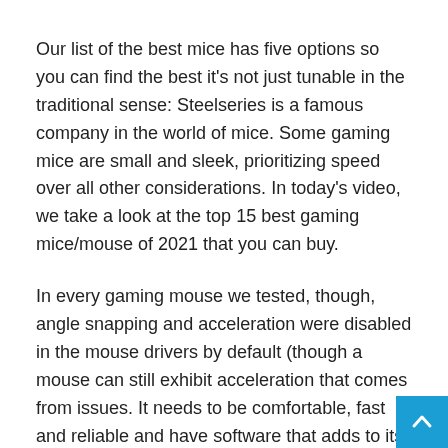Our list of the best mice has five options so you can find the best it's not just tunable in the traditional sense: Steelseries is a famous company in the world of mice. Some gaming mice are small and sleek, prioritizing speed over all other considerations. In today's video, we take a look at the top 15 best gaming mice/mouse of 2021 that you can buy.
In every gaming mouse we tested, though, angle snapping and acceleration were disabled in the mouse drivers by default (though a mouse can still exhibit acceleration that comes from issues. It needs to be comfortable, fast and reliable and have software that adds to its versatility. Looking for the best gaming mouse to buy in 2021? Designed over two years with direct input from many professional esports players, logitech g pro wireless gaming mouse is built to the exacting standards of some of the world's top esports professionals.